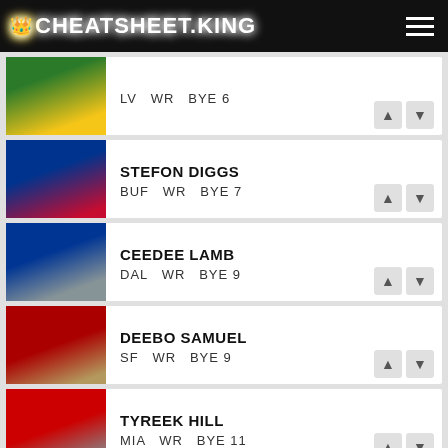CHEATSHEET.KING
LV  WR  BYE 6
STEFON DIGGS
BUF  WR  BYE 7
CEEDEE LAMB
DAL  WR  BYE 9
DEEBO SAMUEL
SF  WR  BYE 9
TYREEK HILL
MIA  WR  BYE 11
Tier 2
MIKE EVANS